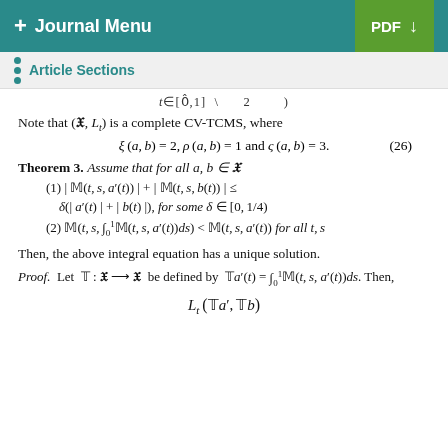+ Journal Menu | PDF (download)
Article Sections
Note that (𝔛, L_t) is a complete CV-TCMS, where
Theorem 3. Assume that for all a, b ∈ 𝔛
(1) | 𝕄(t, s, a′(t)) | + | 𝕄(t, s, b(t)) | ≤ δ(| a′(t) | + | b(t) |), for some δ ∈ [0, 1/4)
(2) 𝕄(t, s, ∫₀¹𝕄(t, s, a′(t))ds) < 𝕄(t, s, a′(t)) for all t, s
Then, the above integral equation has a unique solution.
Proof. Let 𝕋 : 𝔛 → 𝔛 be defined by 𝕋a′(t) = ∫₀¹𝕄(t, s, a′(t))ds. Then,